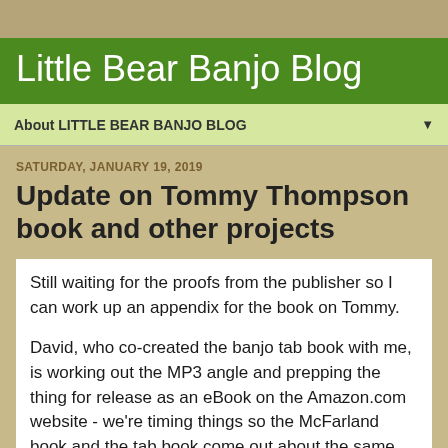Little Bear Banjo Blog
About LITTLE BEAR BANJO BLOG
SATURDAY, JANUARY 19, 2019
Update on Tommy Thompson book and other projects
Still waiting for the proofs from the publisher so I can work up an appendix for the book on Tommy.
David, who co-created the banjo tab book with me, is working out the MP3 angle and prepping the thing for release as an eBook on the Amazon.com website - we're timing things so the McFarland book and the tab book come out about the same time - probably in the Spring this year.